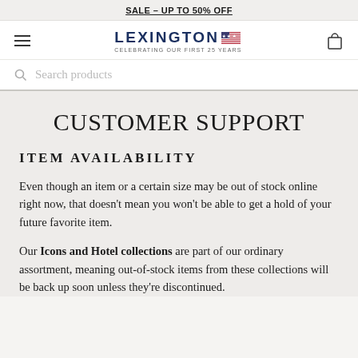SALE – UP TO 50% OFF
[Figure (logo): Lexington brand logo with American flag icon and tagline 'CELEBRATING OUR FIRST 25 YEARS']
Search products
CUSTOMER SUPPORT
ITEM AVAILABILITY
Even though an item or a certain size may be out of stock online right now, that doesn't mean you won't be able to get a hold of your future favorite item.
Our Icons and Hotel collections are part of our ordinary assortment, meaning out-of-stock items from these collections will be back up soon unless they're discontinued. You can always check back here!